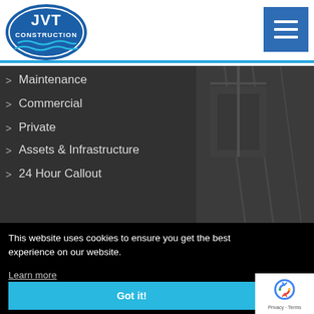[Figure (logo): JVT Construction logo - blue oval with JVT text and CONSTRUCTION below, water wave graphic]
[Figure (other): Blue hamburger menu button (three horizontal white lines on blue square background)]
> Maintenance
> Commercial
> Private
> Assets & Infrastructure
> 24 Hour Callout
This website uses cookies to ensure you get the best experience on our website.
Learn more
Got it!
[Figure (logo): reCAPTCHA badge with Google reCAPTCHA icon and Privacy - Terms text]